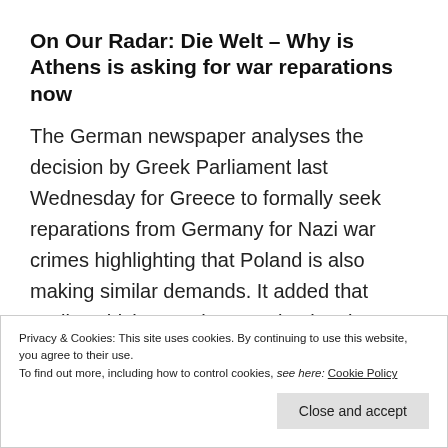On Our Radar: Die Welt – Why is Athens is asking for war reparations now
The German newspaper analyses the decision by Greek Parliament last Wednesday for Greece to formally seek reparations from Germany for Nazi war crimes highlighting that Poland is also making similar demands. It added that Berlin, which says the question has been conclusively settled, will reject a note
Privacy & Cookies: This site uses cookies. By continuing to use this website, you agree to their use.
To find out more, including how to control cookies, see here: Cookie Policy